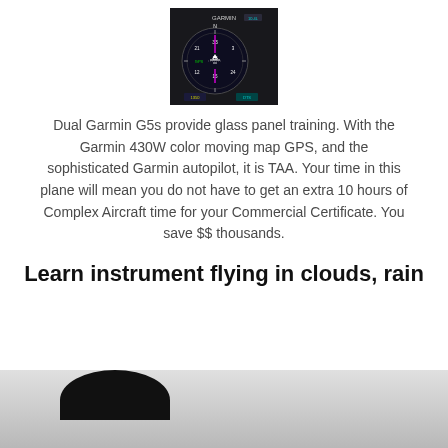[Figure (photo): Garmin G5 glass panel aviation instrument display showing HSI/attitude indicator with colorful navigation graphics on dark background]
Dual Garmin G5s provide glass panel training.  With the Garmin 430W color moving map GPS, and the sophisticated Garmin autopilot, it is TAA.  Your time in this plane will mean you do not have to get an extra 10 hours of Complex Aircraft time for your Commercial Certificate.  You save $$ thousands.
Learn instrument flying in clouds, rain
[Figure (photo): Bottom portion of photograph showing clouds and rain, with dark circular object visible at top left]